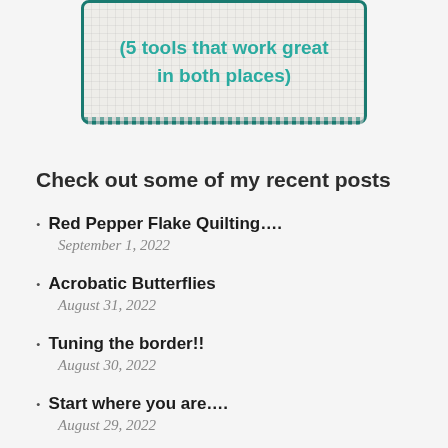[Figure (illustration): A card/box with teal border and checkered background showing text '(5 tools that work great in both places)' in teal color, partially cropped at top of page]
Check out some of my recent posts
Red Pepper Flake Quilting….
September 1, 2022
Acrobatic Butterflies
August 31, 2022
Tuning the border!!
August 30, 2022
Start where you are….
August 29, 2022
Making it less boring